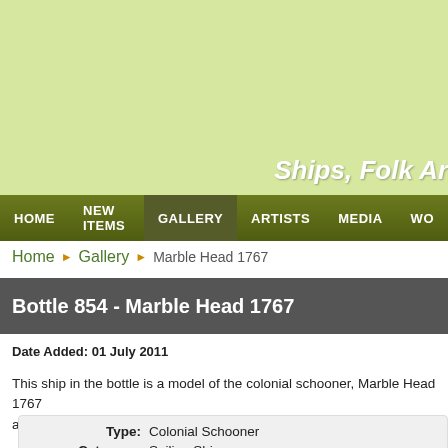Ships, Folk Art
HOME | NEW ITEMS | GALLERY | ARTISTS | MEDIA | WO...
Home › Gallery › Marble Head 1767
Bottle 854 - Marble Head 1767
Date Added: 01 July 2011
This ship in the bottle is a model of the colonial schooner, Marble Head 1767 and date of the ship on one side and Steve Moseley 2010 on the other.
| Field | Value |
| --- | --- |
| Type: | Colonial Schooner |
| Category: | Sailing Ships |
| Bottle Size: | 6" x 6" |